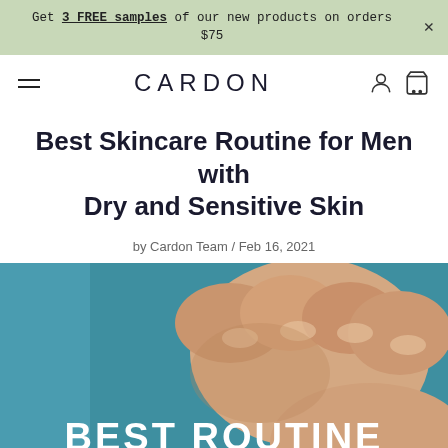Get 3 FREE samples of our new products on orders $75
CARDON
Best Skincare Routine for Men with Dry and Sensitive Skin
by Cardon Team / Feb 16, 2021
[Figure (photo): Close-up of a man's hand on a teal/blue background with large white text 'BEST ROUTINE' overlaid at the bottom]